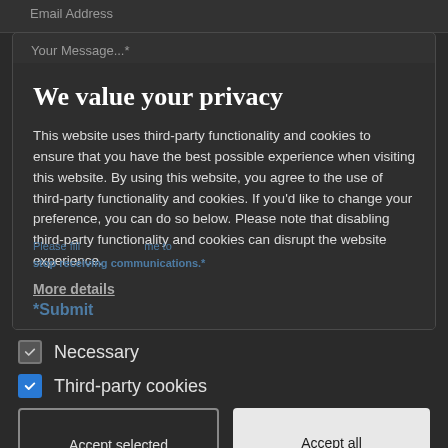Email Address
Your Message...*
We value your privacy
This website uses third-party functionality and cookies to ensure that you have the best possible experience when visiting this website. By using this website, you agree to the use of third-party functionality and cookies. If you'd like to change your preference, you can do so below. Please note that disabling third-party functionality and cookies can disrupt the website experience.
More details
Necessary
Third-party cookies
Accept selected
Accept all